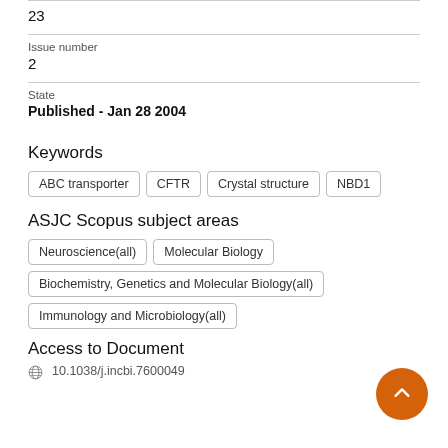23
Issue number
2
State
Published - Jan 28 2004
Keywords
ABC transporter
CFTR
Crystal structure
NBD1
ASJC Scopus subject areas
Neuroscience(all)
Molecular Biology
Biochemistry, Genetics and Molecular Biology(all)
Immunology and Microbiology(all)
Access to Document
10.1038/j.incbi.7600049